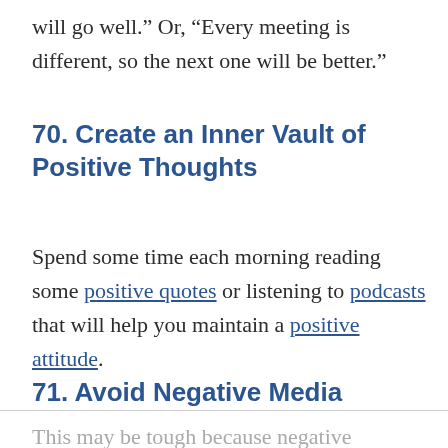will go well.” Or, “Every meeting is different, so the next one will be better.”
70. Create an Inner Vault of Positive Thoughts
Spend some time each morning reading some positive quotes or listening to podcasts that will help you maintain a positive attitude.
71. Avoid Negative Media
This may be tough because negative